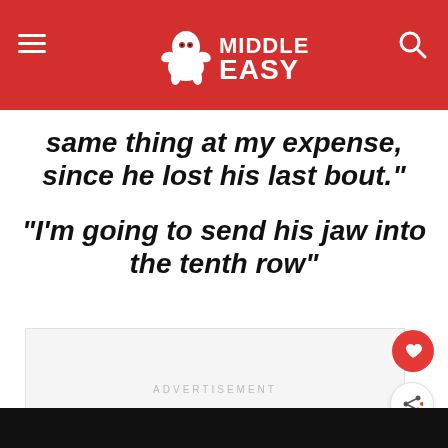[Figure (logo): Middle Easy website header with red background, hamburger menu icon on left, Middle Easy gorilla logo in center, search icon on right]
same thing at my expense, since he lost his last bout.”
“I’m going to send his jaw into the tenth row”
[Figure (other): Advertisement placeholder box with text ADVERTISEMENT]